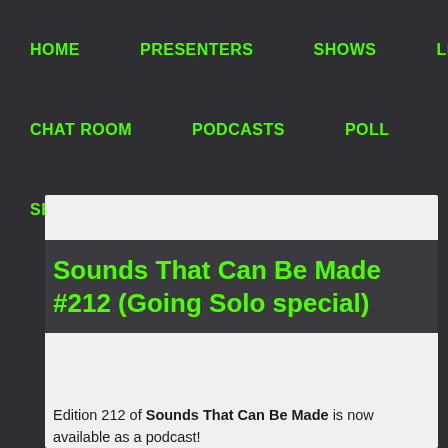HOME   PRESENTERS   SHOWS   LISTEN LIVE
CHAT ROOM   PODCASTS   POLL   ABOUT
SEARCH   LOGIN
Sounds That Can Be Made #212 (Going Solo special)
Edition 212 of Sounds That Can Be Made is now available as a podcast!